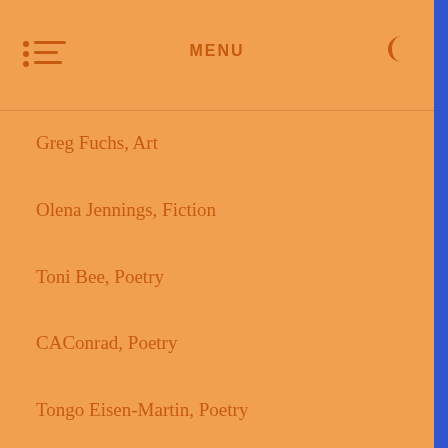MENU
Greg Fuchs, Art
Olena Jennings, Fiction
Toni Bee, Poetry
CAConrad, Poetry
Tongo Eisen-Martin, Poetry
David Mills, Poetry
Urayoán Noel, Poetry
Frank Sherlock, Poetry